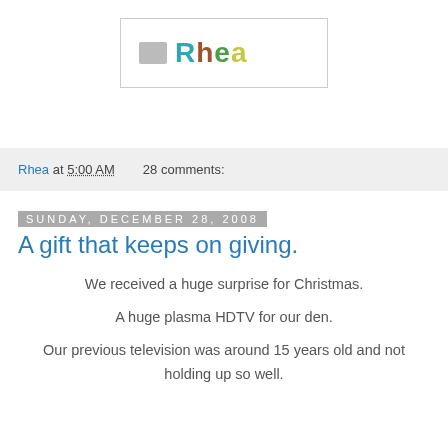[Figure (logo): Rhea blog logo with colorful handwritten-style text and a small icon]
Rhea at 5:00 AM    28 comments:
Sunday, December 28, 2008
A gift that keeps on giving.
We received a huge surprise for Christmas.
A huge plasma HDTV for our den.
Our previous television was around 15 years old and not holding up so well.